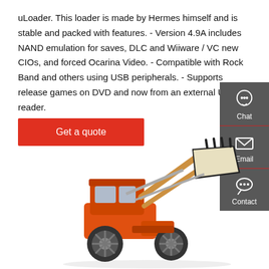uLoader. This loader is made by Hermes himself and is stable and packed with features. - Version 4.9A includes NAND emulation for saves, DLC and Wiiware / VC new CIOs, and forced Ocarina Video. - Compatible with Rock Band and others using USB peripherals. - Supports release games on DVD and now from an external USB reader.
Get a quote
[Figure (screenshot): Dark grey sidebar panel with Chat (headset icon), Email (envelope icon), and Contact (speech bubble icon) options, separated by red dividers]
[Figure (photo): Orange wheel loader / front-end loader construction machine with raised bucket, photographed on white background]